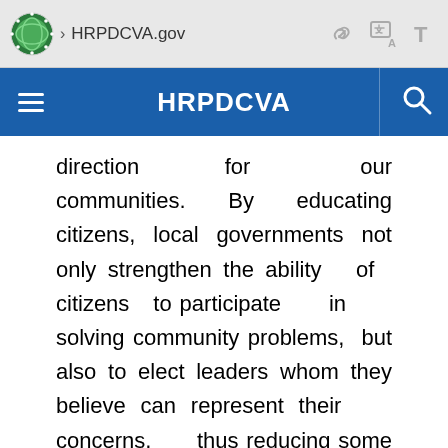HRPDCVA.gov
HRPDCVA
direction for our communities. By educating citizens, local governments not only strengthen the ability of citizens to participate in solving community problems, but also to elect leaders whom they believe can represent their concerns, thus reducing some of the fear, anger, and sense of loss of control. A well-know TV ad refers to an educated consumer as the best